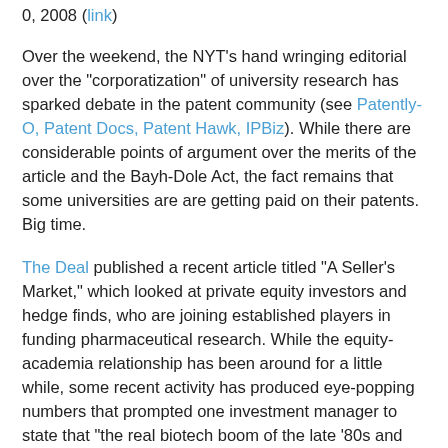0, 2008 (link)
Over the weekend, the NYT's hand wringing editorial over the "corporatization" of university research has sparked debate in the patent community (see Patently-O, Patent Docs, Patent Hawk, IPBiz). While there are considerable points of argument over the merits of the article and the Bayh-Dole Act, the fact remains that some universities are are getting paid on their patents. Big time.
The Deal published a recent article titled "A Seller's Market," which looked at private equity investors and hedge finds, who are joining established players in funding pharmaceutical research. While the equity-academia relationship has been around for a little while, some recent activity has produced eye-popping numbers that prompted one investment manager to state that "the real biotech boom of the late '80s and early '90s has now come to fruition." From the article:
• Children's Hospital Foundation, the parent company of the Children's Hospital of Philadelphia, sold its royalty interest in sales of